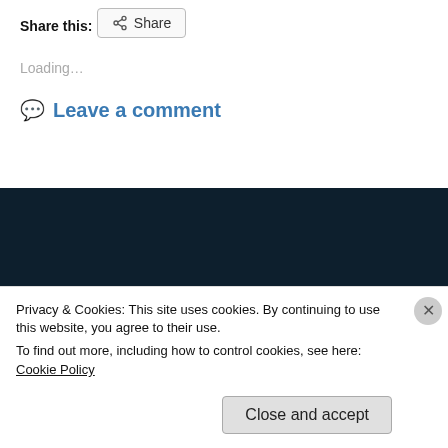Share this:
[Figure (other): Share button with icon]
Loading...
Leave a comment
Places we visited....
Privacy & Cookies: This site uses cookies. By continuing to use this website, you agree to their use.
To find out more, including how to control cookies, see here: Cookie Policy
Close and accept